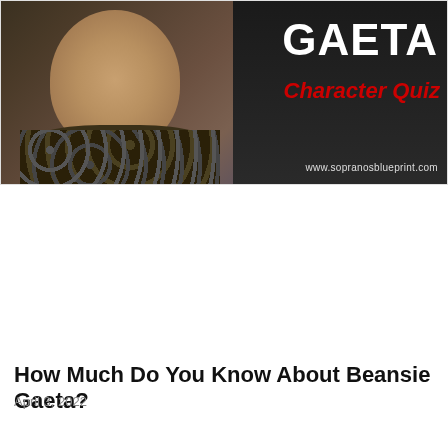[Figure (photo): A man in a patterned shirt on a dark background with white bold text 'GAETA', red italic text 'Character Quiz', and website URL www.sopranosblueprint.com]
How Much Do You Know About Beansie Gaeta?
April 3, 2022